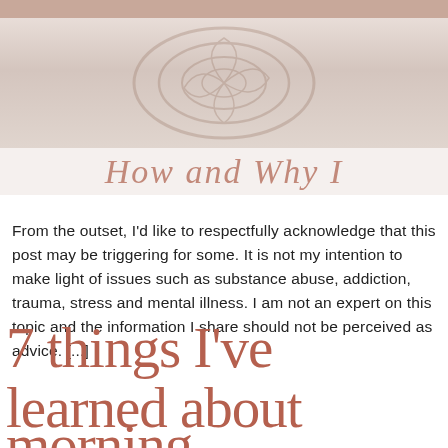[Figure (photo): Photo of a woman's face and upper body, with decorative rose motif overlay on a beige/cream background. Text overlay reads 'How and Why I' in italic serif font.]
From the outset, I'd like to respectfully acknowledge that this post may be triggering for some. It is not my intention to make light of issues such as substance abuse, addiction, trauma, stress and mental illness. I am not an expert on this topic and the information I share should not be perceived as advice. [...]
7 things I've learned about morning